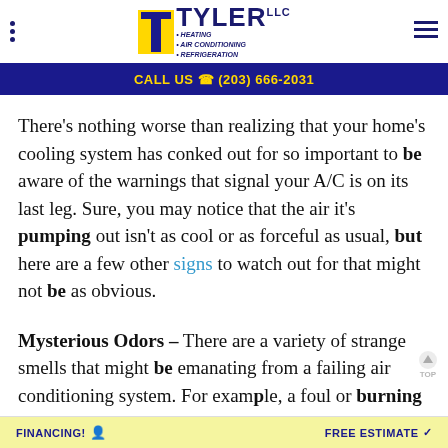Tyler LLC - Heating, Air Conditioning, Refrigeration. CALL US (203) 666-2031
There's nothing worse than realizing that your home's cooling system has conked out for so important to be aware of the warnings that signal your A/C is on its last leg. Sure, you may notice that the air it's pumping out isn't as cool or as forceful as usual, but here are a few other signs to watch out for that might not be as obvious.
Mysterious Odors – There are a variety of strange smells that might be emanating from a failing air conditioning system. For example, a foul or burning scent typically indicates that the wire insulation has been burned through. If you're experiencing more